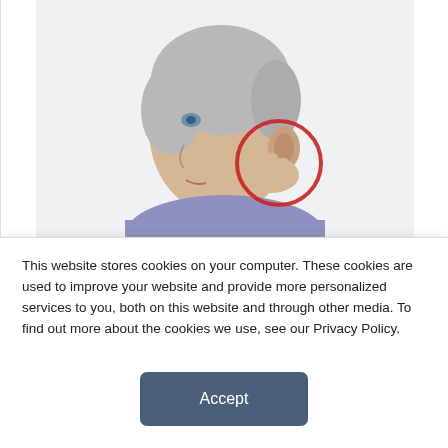[Figure (photo): Side profile photo of an elderly woman with gray hair holding her hand up to her ear. A red circle is drawn around her ear and hand area to highlight the ear region, related to tinnitus/hearing topic.]
A technology called functional near-infrared spectroscopy (fNIRS) can be used to objectively measure tinnitus, or ringing in the ears, according to a new study published November 18 in the open-
This website stores cookies on your computer. These cookies are used to improve your website and provide more personalized services to you, both on this website and through other media. To find out more about the cookies we use, see our Privacy Policy.